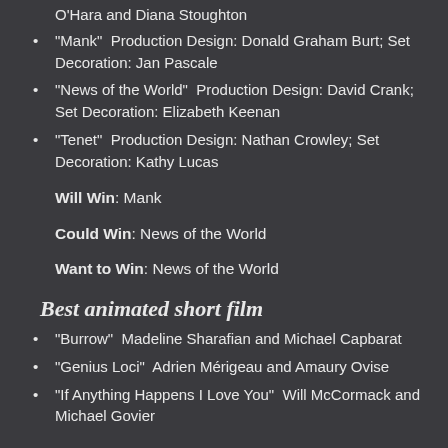O’Hara and Diana Stoughton
“Mank”  Production Design: Donald Graham Burt; Set Decoration: Jan Pascale
“News of the World”  Production Design: David Crank; Set Decoration: Elizabeth Keenan
“Tenet”  Production Design: Nathan Crowley; Set Decoration: Kathy Lucas
Will Win: Mank
Could Win: News of the World
Want to Win: News of the World
Best animated short film
“Burrow”  Madeline Sharafian and Michael Capbarat
“Genius Loci”  Adrien Mérigeau and Amaury Ovise
“If Anything Happens I Love You”  Will McCormack and Michael Govier